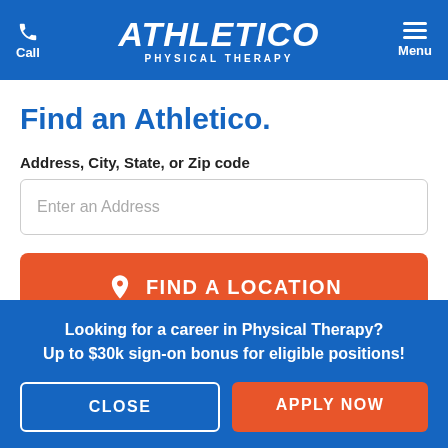[Figure (screenshot): Athletico Physical Therapy website header with blue background, phone/Call icon on left, Athletico logo in center, hamburger Menu icon on right]
Find an Athletico.
Address, City, State, or Zip code
Enter an Address
FIND A LOCATION
Looking for a career in Physical Therapy?
Up to $30k sign-on bonus for eligible positions!
CLOSE
APPLY NOW